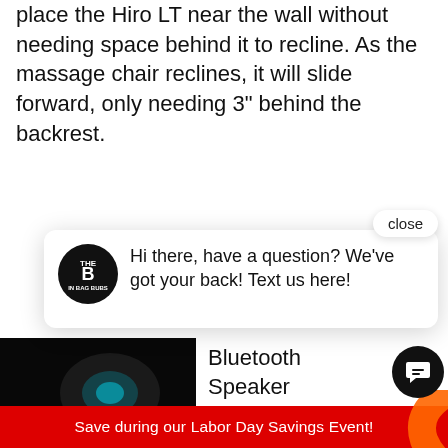place the Hiro LT near the wall without needing space behind it to recline. As the massage chair reclines, it will slide forward, only needing 3" behind the backrest.
[Figure (screenshot): Chat popup with 'close' button and logo. Message reads: Hi there, have a question? We've got your back! Text us here!]
[Figure (photo): Dark product photo of massage chair with glowing teal light, partial text 'H' and 'ER' visible]
Bluetooth Speaker
The Osaki OS-Pro Hi...
Save during our Labor Day Savings Event!